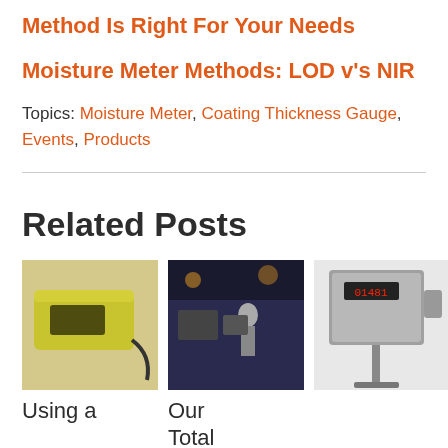Method Is Right For Your Needs
Moisture Meter Methods: LOD v's NIR
Topics: Moisture Meter, Coating Thickness Gauge, Events, Products
Related Posts
[Figure (photo): Yellow handheld coating thickness gauge device with cable]
Using a
[Figure (photo): Trade show booth with people and displays in background]
Our Total
[Figure (photo): Industrial moisture measurement equipment on stand, metal box with display]